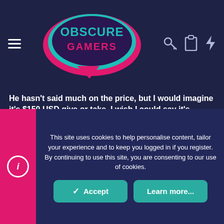[Figure (logo): Obscure Gamers logo with teal/pink controller graphic and navigation icons (hamburger menu, key, clipboard, lightning bolt)]
He hasn't said much on the price, but I would imagine it's $150 USD give or take. I wish I could say it's coming soon, but doesn't seem like it. He's still working on the production test/QC system for mass production, and the final shell/labeling solution. I believe his next update will detail that system plus beta results (I hope). Many wondered about being a Patreon supporter and getting first dibs, and while that is true, the reality is that once this is publicly available, the production quantity should be enough that you will get one without having to wait X more months (again I hope).
8bitplus
This site uses cookies to help personalise content, tailor your experience and to keep you logged in if you register.
By continuing to use this site, you are consenting to our use of cookies.
Accept
Learn more...